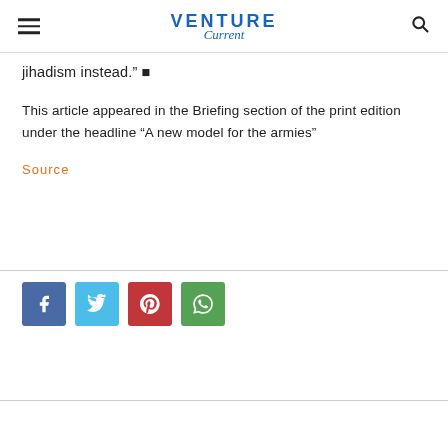VENTURE Current
jihadism instead.” ■
This article appeared in the Briefing section of the print edition under the headline “A new model for the armies”
Source
[Figure (other): Social share buttons: Facebook, Twitter, Pinterest, WhatsApp]